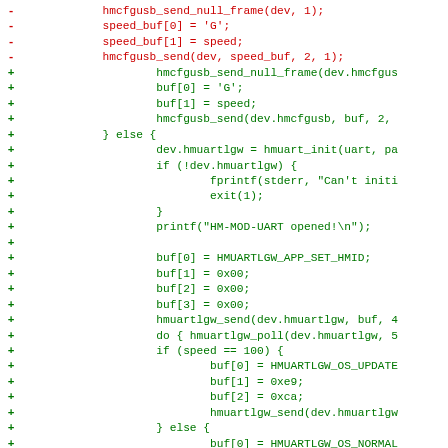Code diff showing removal of hmcfgusb_send_null_frame, speed_buf assignments, and hmcfgusb_send; replaced with expanded USB/UART initialization code including hmuart_init, fprintf, printf, buf assignments, hmuartlgw_send, hmuartlgw_poll, and conditional speed-based buffer setup.